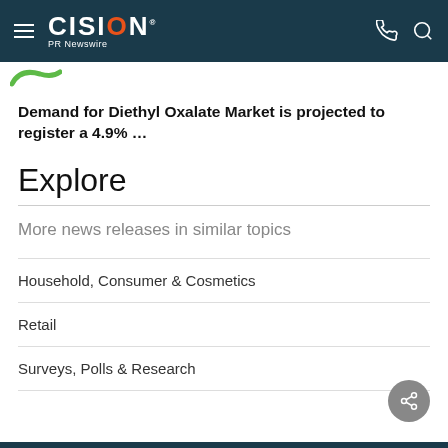CISION PR Newswire
Demand for Diethyl Oxalate Market is projected to register a 4.9% ...
Explore
More news releases in similar topics
Household, Consumer & Cosmetics
Retail
Surveys, Polls & Research